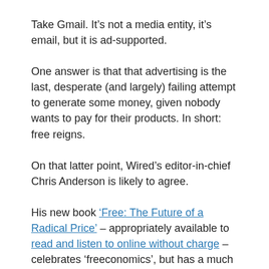Take Gmail. It's not a media entity, it's email, but it is ad-supported.
One answer is that that advertising is the last, desperate (and largely) failing attempt to generate some money, given nobody wants to pay for their products. In short: free reigns.
On that latter point, Wired's editor-in-chief Chris Anderson is likely to agree.
His new book 'Free: The Future of a Radical Price' – appropriately available to read and listen to online without charge – celebrates 'freeconomics', but has a much more positive take on its effect on the business world.
The reason, he says, people are convinced that ad-funded won't work is because they are applying the conventional rules.